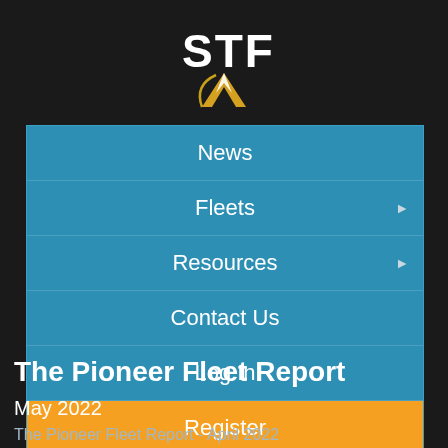[Figure (logo): STF logo with stylized Star Trek chevron/delta shape in gold/white and bold white STF text above dark background]
News
Fleets
Resources
Contact Us
Log In
Register
The Pioneer Fleet Report
May 2022
The Pioneer Fleet Report - April 2022